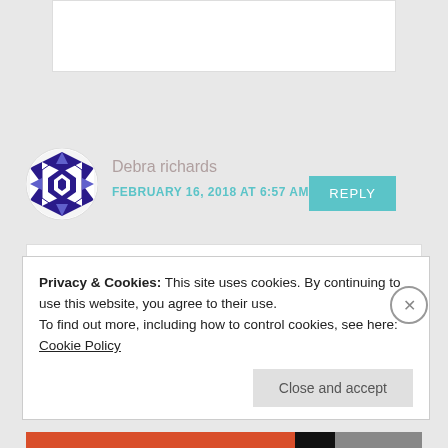[Figure (illustration): Top portion of a comment box, partially cut off at top, showing a like button area]
REPLY
[Figure (illustration): Avatar: circular icon with purple/blue geometric quilt pattern on white background]
Debra richards
FEBRUARY 16, 2018 AT 6:57 AM
The colors are breathtaking!!!
Like
Privacy & Cookies: This site uses cookies. By continuing to use this website, you agree to their use.
To find out more, including how to control cookies, see here: Cookie Policy
Close and accept